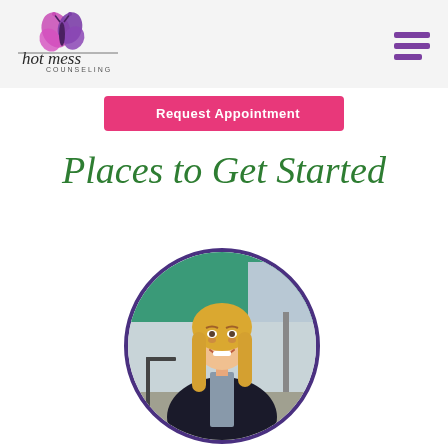Hot Mess Counseling - navigation header with logo and hamburger menu
Request Appointment
Places to Get Started
[Figure (photo): Circular portrait photo of a blonde woman in a black blazer, seated outdoors in front of a storefront with teal/green awning, smiling. Photo has a purple circular border.]